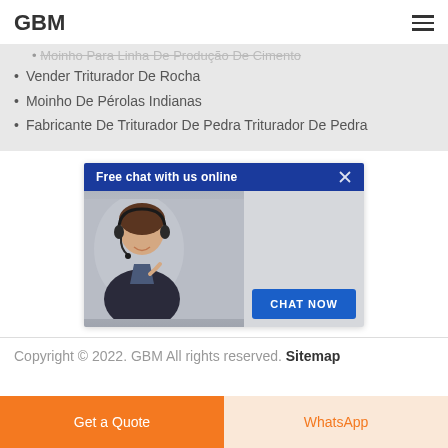GBM
Moinho Para Linha De Produção De Cimento
Vender Triturador De Rocha
Moinho De Pérolas Indianas
Fabricante De Triturador De Pedra Triturador De Pedra
[Figure (screenshot): Chat widget with blue header 'Free chat with us online', close button, woman with headset, and 'CHAT NOW' blue button]
Copyright © 2022. GBM All rights reserved. Sitemap
Get a Quote
WhatsApp